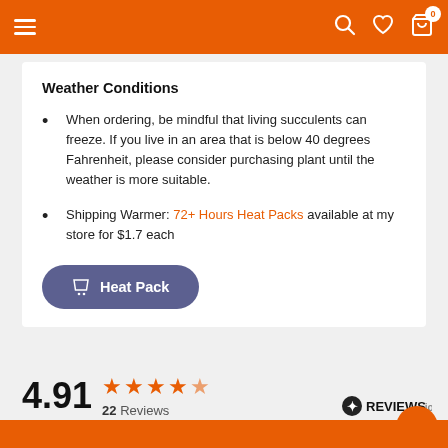Navigation header with hamburger menu, search, wishlist, and cart icons
Weather Conditions
When ordering, be mindful that living succulents can freeze. If you live in an area that is below 40 degrees Fahrenheit, please consider purchasing plant until the weather is more suitable.
Shipping Warmer: 72+ Hours Heat Packs available at my store for $1.7 each
Heat Pack (button)
4.91  22 Reviews
[Figure (logo): REVIEWS.io logo with star badge]